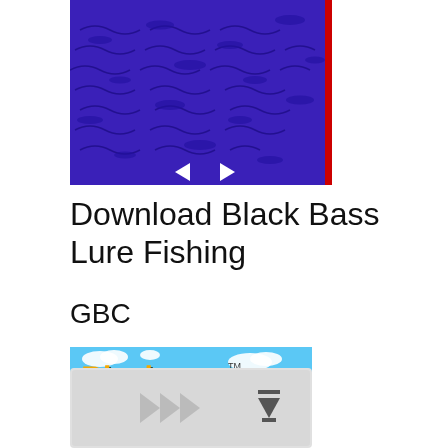[Figure (screenshot): Game screenshot showing purple/blue water surface with fish shadows and two arrow cursors (left and right) at the bottom.]
Download Black Bass Lure Fishing
GBC
[Figure (photo): Black Bass Lure Fishing GBC game cover art with orange and black 'Black Bass' logo and 'Lure Fishing' banner below, on a light blue sky background.]
[Figure (screenshot): Download button/bar UI element with grey play icons and a download arrow icon on the right.]